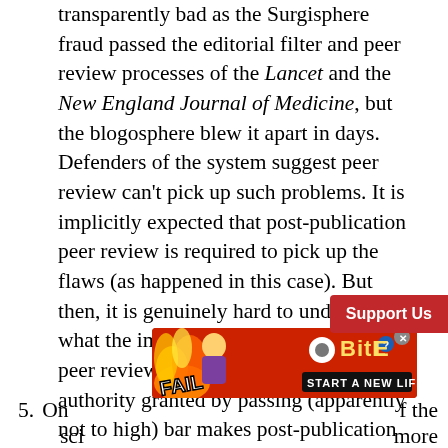transparently bad as the Surgisphere fraud passed the editorial filter and peer review processes of the Lancet and the New England Journal of Medicine, but the blogosphere blew it apart in days. Defenders of the system suggest peer review can't pick up such problems. It is implicitly expected that post-publication peer review is required to pick up the flaws (as happened in this case). But then, it is genuinely hard to understand what the imprimatur of “published in a peer review journal” adds. In fact, the authority granted by passing (apparently not to high) bar makes post-publication peer review harder.
[Figure (other): BitLife advertisement banner with FAIL text, animated character, flames, and START A NEW LIFE tagline]
5. On ... f the sci... more